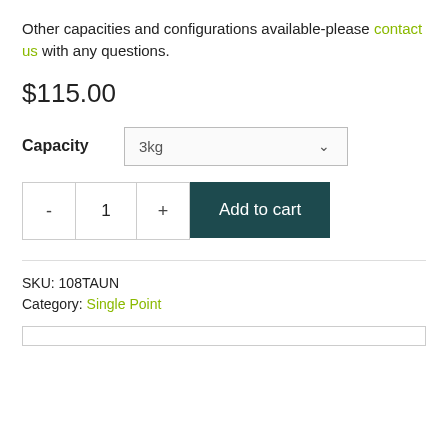Other capacities and configurations available-please contact us with any questions.
$115.00
Capacity  3kg
- 1 +  Add to cart
SKU: 108TAUN
Category: Single Point